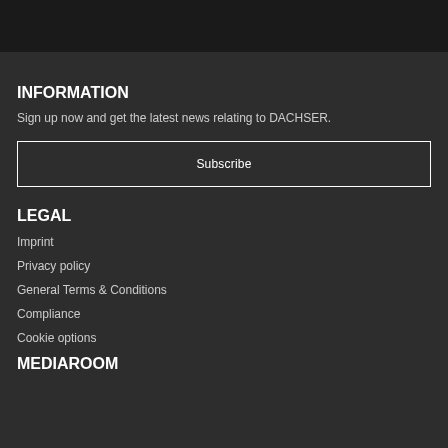INFORMATION
Sign up now and get the latest news relating to DACHSER.
Subscribe
LEGAL
Imprint
Privacy policy
General Terms & Conditions
Compliance
Cookie options
MEDIAROOM